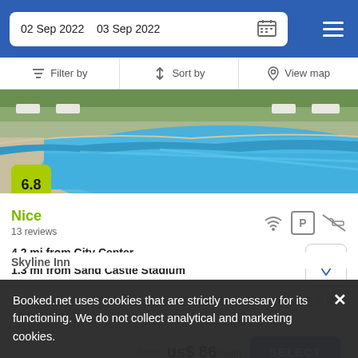02 Sep 2022  03 Sep 2022
Filter by  Sort by  View map
[Figure (photo): Swimming pool with blue water and lounge chairs in background at a hotel]
6.8
Nice
13 reviews
4.2 mi from City Center
1.3 mi from Sand Castle Stadium
A large pool and a poolside bar are offered for guest convenience at this lovely hotel.
from  us$ 86/night
SELECT
Booked.net uses cookies that are strictly necessary for its functioning. We do not collect analytical and marketing cookies.
Skyline Inn